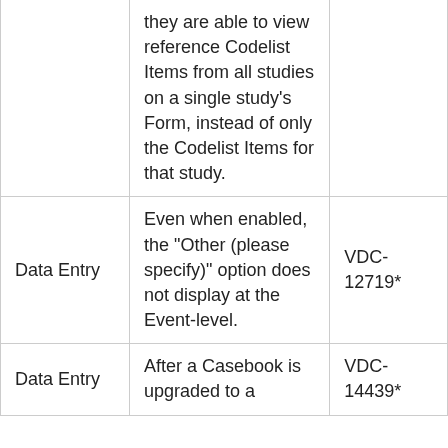|  | they are able to view reference Codelist Items from all studies on a single study's Form, instead of only the Codelist Items for that study. |  |
| Data Entry | Even when enabled, the "Other (please specify)" option does not display at the Event-level. | VDC-12719* |
| Data Entry | After a Casebook is upgraded to a | VDC-14439* |